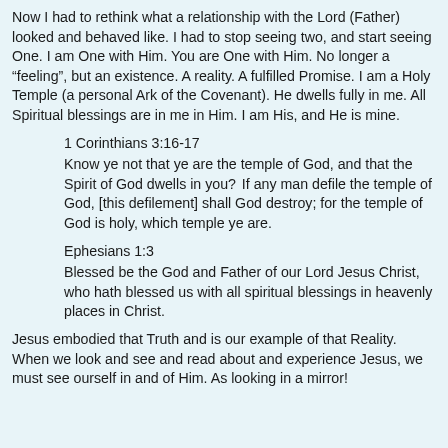Now I had to rethink what a relationship with the Lord (Father) looked and behaved like. I had to stop seeing two, and start seeing One. I am One with Him. You are One with Him. No longer a “feeling”, but an existence. A reality. A fulfilled Promise. I am a Holy Temple (a personal Ark of the Covenant). He dwells fully in me. All Spiritual blessings are in me in Him. I am His, and He is mine.
1 Corinthians 3:16-17
Know ye not that ye are the temple of God, and that the Spirit of God dwells in you?  If any man defile the temple of God, [this defilement] shall God destroy; for the temple of God is holy, which temple ye are.
Ephesians 1:3
Blessed be the God and Father of our Lord Jesus Christ, who hath blessed us with all spiritual blessings in heavenly places in Christ.
Jesus embodied that Truth and is our example of that Reality. When we look and see and read about and experience Jesus, we must see ourself in and of Him. As looking in a mirror!